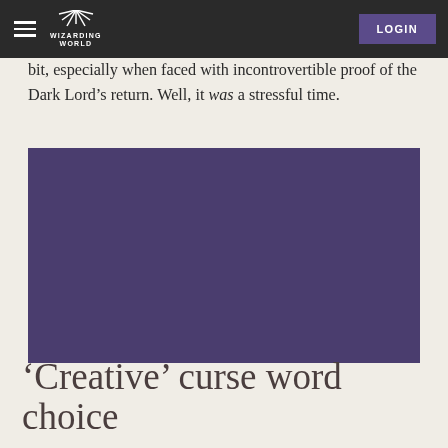WIZARDING WORLD | LOGIN
regularity. Cornelius Fudge, who tried so hard to deny Voldemort’s return, tend to blurt out ‘Merlin’s beard’ quite a bit, especially when faced with incontrovertible proof of the Dark Lord’s return. Well, it was a stressful time.
[Figure (illustration): Solid purple/violet rectangular image placeholder, approximately 4:3 aspect ratio]
‘Creative’ curse word choice